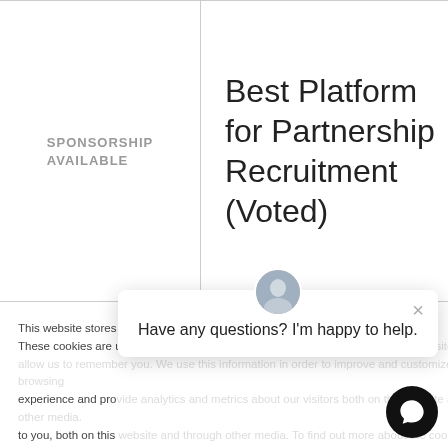SPONSORSHIP AVAILABLE
Best Platform for Partnership Recruitment (Voted)
This website stores cookies. These cookies are used to improve your experience and provide more personalized services to you, both on this website and through other media. To find out more about the cookies we use, see our privacy policy.
Have any questions? I'm happy to help.
Manage Cookies
Allow all
Decline